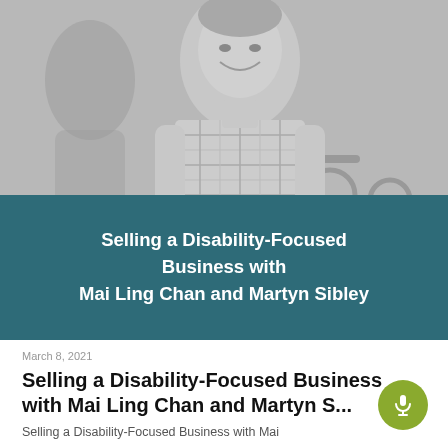[Figure (photo): Grayscale photo of a smiling man in a plaid shirt, sitting in a wheelchair, with another person partially visible behind him]
Selling a Disability-Focused Business with Mai Ling Chan and Martyn Sibley
March 8, 2021
Selling a Disability-Focused Business with Mai Ling Chan and Martyn S...
Selling a Disability-Focused Business with Mai